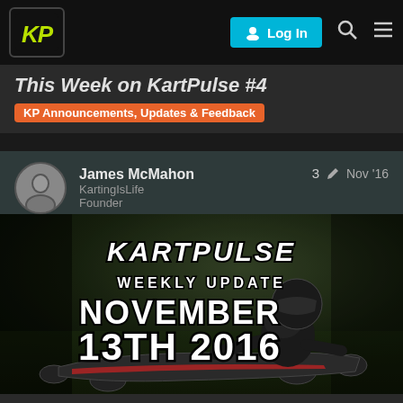KP | Log In
This Week on KartPulse #4
KP Announcements, Updates & Feedback
James McMahon
KartingIsLife
Founder
3 Nov '16
[Figure (photo): KartPulse Weekly Update November 13th 2016 promotional image featuring a kart racer in a black helmet leaning through a corner, with the KartPulse logo and text overlaid: WEEKLY UPDATE NOVEMBER 13TH 2016]